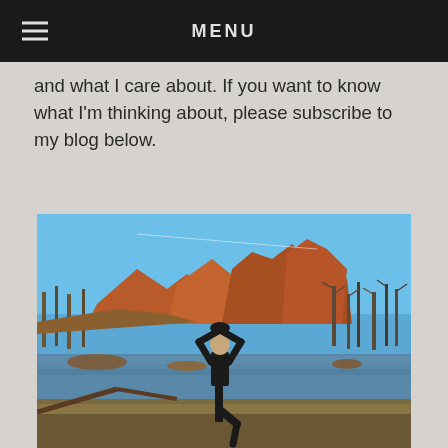MENU
and what I care about. If you want to know what I'm thinking about, please subscribe to my blog below.
[Figure (photo): Person in black clothing performing a yoga tree pose on a rocky riverbank in Sedona, Arizona, with red rock formations (Cathedral Rock) and bare trees visible in the background under a bright blue sky.]